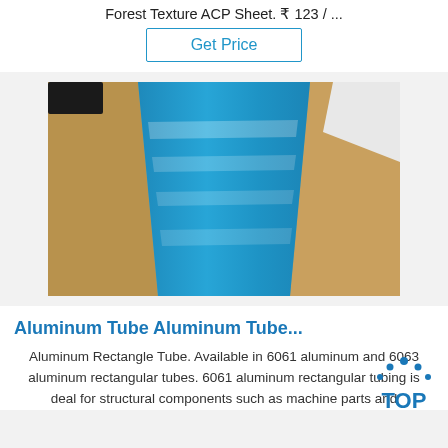Forest Texture ACP Sheet. ₹ 123 / ...
Get Price
[Figure (photo): Photo of blue aluminum sheet laid out with brown paper wrapping on sides, showing reflective blue metallic surface]
Aluminum Tube Aluminum Tube...
Aluminum Rectangle Tube. Available in 6061 aluminum and 6063 aluminum rectangular tubes. 6061 aluminum rectangular tubing is deal for structural components such as machine parts and